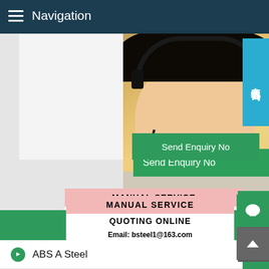Navigation
[Figure (photo): Customer service representative wearing a headset, smiling, with yellow/warm background. Chinese text badge '在线咨询' on the right side.]
Send Enquiry Now
MANUAL SERVICE
QUOTING ONLINE
Email: bsteel1@163.com
PRODUCT LIST
ABS A Steel
ABS B Steel
ABS D Steel
ABS E Steel